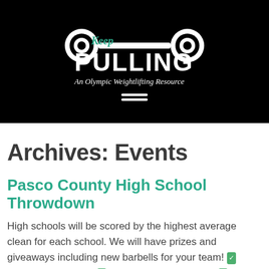[Figure (logo): Keep Pulling - An Olympic Weightlifting Resource logo on black background with barbell graphic and teal/white text]
Archives: Events
Pasco County High School Throwdown
High schools will be scored by the highest average clean for each school. We will have prizes and giveaways including new barbells for your team! FREE Registration! Clean Only Competition High